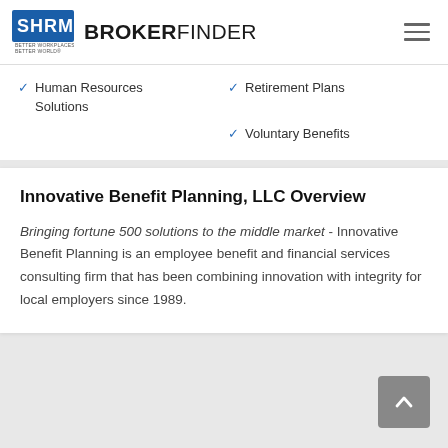SHRM BROKERFINDER
Human Resources Solutions
Retirement Plans
Voluntary Benefits
Innovative Benefit Planning, LLC Overview
Bringing fortune 500 solutions to the middle market - Innovative Benefit Planning is an employee benefit and financial services consulting firm that has been combining innovation with integrity for local employers since 1989.